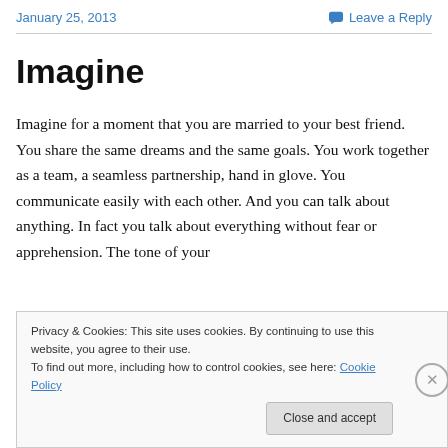January 25, 2013    Leave a Reply
Imagine
Imagine for a moment that you are married to your best friend. You share the same dreams and the same goals. You work together as a team, a seamless partnership, hand in glove. You communicate easily with each other. And you can talk about anything. In fact you talk about everything without fear or apprehension. The tone of your
Privacy & Cookies: This site uses cookies. By continuing to use this website, you agree to their use.
To find out more, including how to control cookies, see here: Cookie Policy

Close and accept